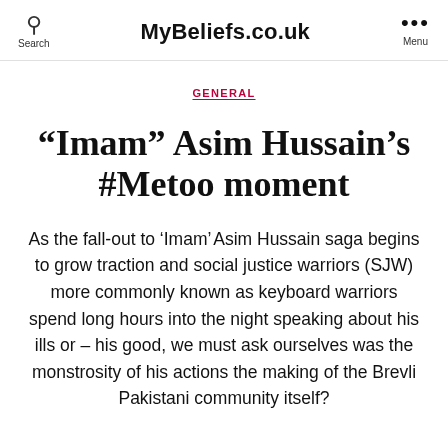MyBeliefs.co.uk
GENERAL
“Imam” Asim Hussain’s #Metoo moment
As the fall-out to ‘Imam’ Asim Hussain saga begins to grow traction and social justice warriors (SJW) more commonly known as keyboard warriors spend long hours into the night speaking about his ills or – his good, we must ask ourselves was the monstrosity of his actions the making of the Brevli Pakistani community itself?